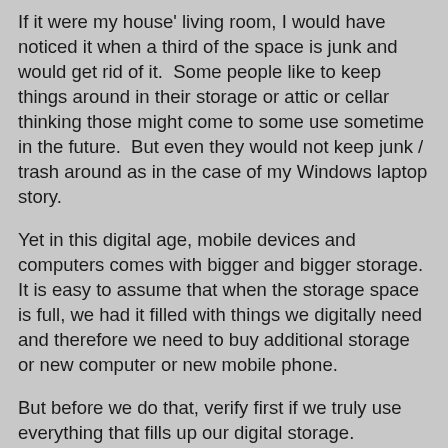If it were my house' living room, I would have noticed it when a third of the space is junk and would get rid of it.  Some people like to keep things around in their storage or attic or cellar thinking those might come to some use sometime in the future.  But even they would not keep junk / trash around as in the case of my Windows laptop story.
Yet in this digital age, mobile devices and computers comes with bigger and bigger storage. It is easy to assume that when the storage space is full, we had it filled with things we digitally need and therefore we need to buy additional storage or new computer or new mobile phone.
But before we do that, verify first if we truly use everything that fills up our digital storage.
Even if we have the financial means to buy more storage or new device, it is a good habit to clean